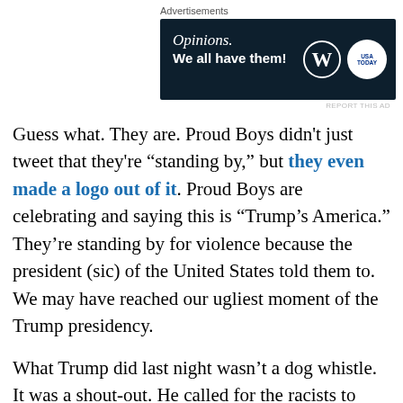[Figure (other): Advertisement banner with dark navy background showing 'Opinions. We all have them!' text with WordPress and USA Today logos]
Guess what. They are. Proud Boys didn't just tweet that they're “standing by,” but they even made a logo out of it. Proud Boys are celebrating and saying this is “Trump’s America.” They’re standing by for violence because the president (sic) of the United States told them to. We may have reached our ugliest moment of the Trump presidency.
What Trump did last night wasn’t a dog whistle. It was a shout-out. He called for the racists to help him.
Mark Hamill tweeted the debate was “the worst thing I’ve ever seen, and I was in the Star Wars Holiday Special.” A lot of viewers blamed Fox News’ Chris Wallace, who